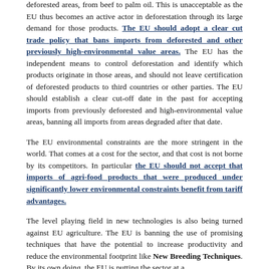deforested areas, from beef to palm oil. This is unacceptable as the EU thus becomes an active actor in deforestation through its large demand for those products. The EU should adopt a clear cut trade policy that bans imports from deforested and other previously high-environmental value areas. The EU has the independent means to control deforestation and identify which products originate in those areas, and should not leave certification of deforested products to third countries or other parties. The EU should establish a clear cut-off date in the past for accepting imports from previously deforested and high-environmental value areas, banning all imports from areas degraded after that date.
The EU environmental constraints are the more stringent in the world. That comes at a cost for the sector, and that cost is not borne by its competitors. In particular the EU should not accept that imports of agri-food products that were produced under significantly lower environmental constraints benefit from tariff advantages.
The level playing field in new technologies is also being turned against EU agriculture. The EU is banning the use of promising techniques that have the potential to increase productivity and reduce the environmental footprint like New Breeding Techniques. By its own doing, the EU is putting the sector at a